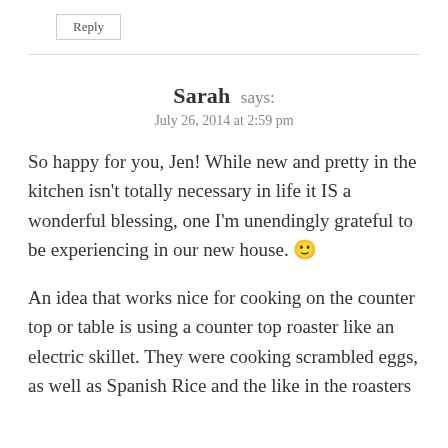Reply
Sarah says:
July 26, 2014 at 2:59 pm
So happy for you, Jen! While new and pretty in the kitchen isn't totally necessary in life it IS a wonderful blessing, one I'm unendingly grateful to be experiencing in our new house. 🙂
An idea that works nice for cooking on the counter top or table is using a counter top roaster like an electric skillet. They were cooking scrambled eggs, as well as Spanish Rice and the like in the roasters